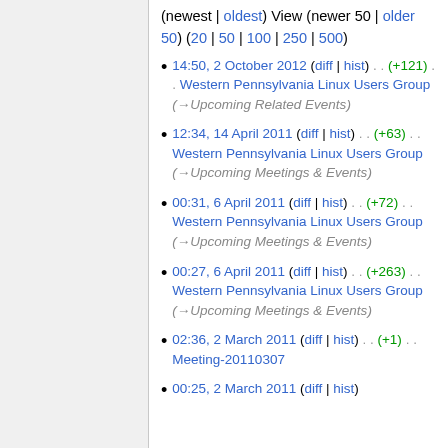(newest | oldest) View (newer 50 | older 50) (20 | 50 | 100 | 250 | 500)
14:50, 2 October 2012 (diff | hist) . . (+121) . . Western Pennsylvania Linux Users Group (→Upcoming Related Events)
12:34, 14 April 2011 (diff | hist) . . (+63) . . Western Pennsylvania Linux Users Group (→Upcoming Meetings & Events)
00:31, 6 April 2011 (diff | hist) . . (+72) . . Western Pennsylvania Linux Users Group (→Upcoming Meetings & Events)
00:27, 6 April 2011 (diff | hist) . . (+263) . . Western Pennsylvania Linux Users Group (→Upcoming Meetings & Events)
02:36, 2 March 2011 (diff | hist) . . (+1) . . Meeting-20110307
00:25, 2 March 2011 (diff | hist)